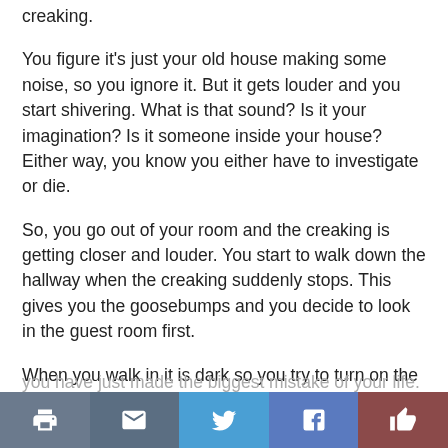creaking.
You figure it’s just your old house making some noise, so you ignore it. But it gets louder and you start shivering. What is that sound? Is it your imagination? Is it someone inside your house? Either way, you know you either have to investigate or die.
So, you go out of your room and the creaking is getting closer and louder. You start to walk down the hallway when the creaking suddenly stops. This gives you the goosebumps and you decide to look in the guest room first.
When you walk in it is dark so you try to turn on the light. It flickers at first, but when it finally turns on,
you have just made the biggest mistake of your life.